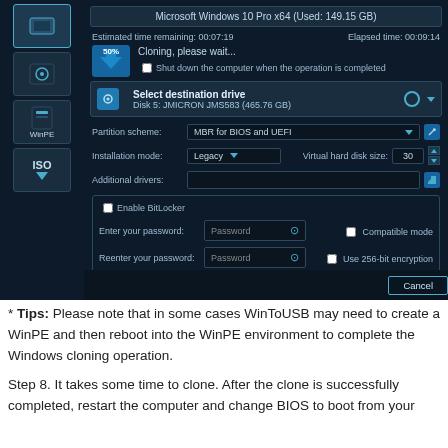[Figure (screenshot): WinToUSB software screenshot showing a cloning progress dialog at 50% with destination drive selection (Disk 5: JMICRON JMS583, 465.76 GB), partition scheme (MBR for BIOS and UEFI), installation mode (Legacy), virtual hard disk size (30), additional drivers field, and BitLocker enable section with password fields and options for Compatible mode and 256-bit encryption. A Cancel button is visible at the bottom right.]
* Tips: Please note that in some cases WinToUSB may need to create a WinPE and then reboot into the WinPE environment to complete the Windows cloning operation.
Step 8. It takes some time to clone. After the clone is successfully completed, restart the computer and change BIOS to boot from your